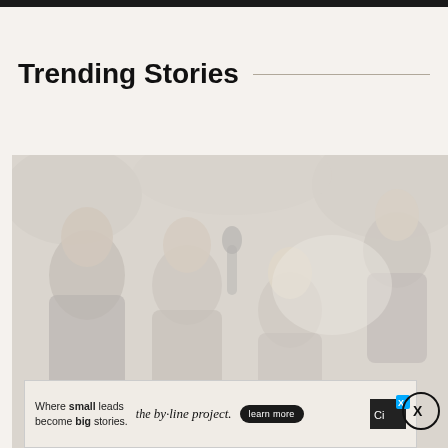Trending Stories
[Figure (photo): Faded/washed-out group photo of several people appearing excited or surprised, outdoors]
Where small leads become big stories. the by-line project. learn more